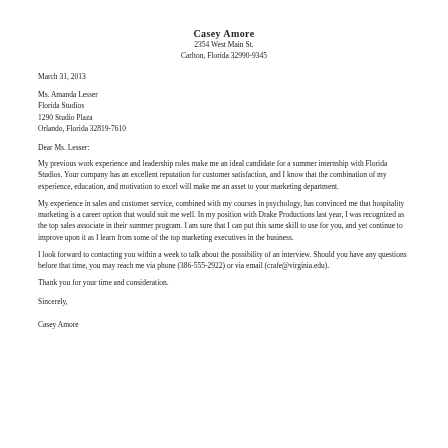Casey Amore
2354 West Main St.
Carlton, Florida 32990-9345
March 31, 2013
Ms. Amanda Lesser
Florida Studios
1290 Studio Plaza
Orlando, Florida 32819-7610
Dear Ms. Lesser:
My previous work experience and leadership roles make me an ideal candidate for a summer internship with Florida Studios. Your company has an excellent reputation for customer satisfaction, and I know that the combination of my experience, education, and motivation to excel will make me an asset to your marketing department.
My experience in sales and customer service, combined with my courses in psychology, has convinced me that hospitality marketing is a career option that would suit me well. In my position with Drake Productions last year, I was recognized as the top sales associate in their summer program. I am sure that I can put this same skill to use for you, and yet continue to improve upon it as I learn from some of the top marketing executives in the business.
I look forward to contacting you within a week to talk about the possibility of an interview. Should you have any questions before that time, you may reach me via phone (386-555-2922) or via email (crafe@virginia.edu).
Thank you for your time and consideration.
Sincerely,
Casey Amore